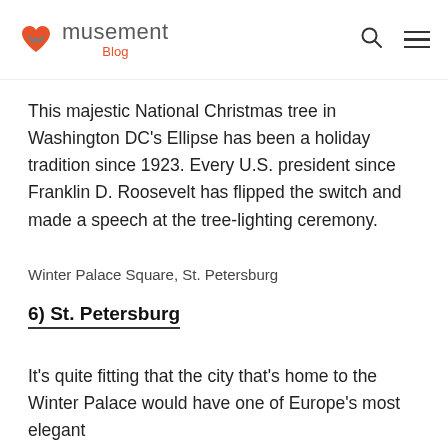musement Blog
This majestic National Christmas tree in Washington DC’s Ellipse has been a holiday tradition since 1923. Every U.S. president since Franklin D. Roosevelt has flipped the switch and made a speech at the tree-lighting ceremony.
Winter Palace Square, St. Petersburg
6) St. Petersburg
It’s quite fitting that the city that’s home to the Winter Palace would have one of Europe’s most elegant